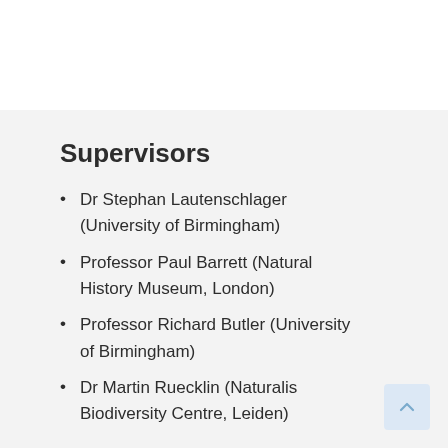Supervisors
Dr Stephan Lautenschlager (University of Birmingham)
Professor Paul Barrett (Natural History Museum, London)
Professor Richard Butler (University of Birmingham)
Dr Martin Ruecklin (Naturalis Biodiversity Centre, Leiden)